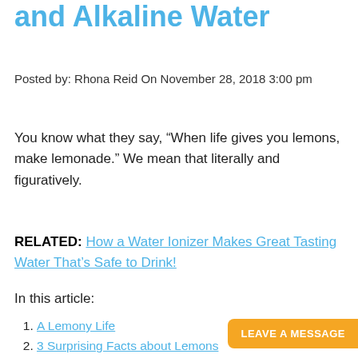and Alkaline Water
Posted by: Rhona Reid On November 28, 2018 3:00 pm
You know what they say, “When life gives you lemons, make lemonade.” We mean that literally and figuratively.
RELATED: How a Water Ionizer Makes Great Tasting Water That’s Safe to Drink!
In this article:
A Lemony Life
3 Surprising Facts about Lemons
Lemons Have an Alkaline Effect on the Body
The Oil of the Skin isn’t Sour, it’s Sweet!
Age- and Cancer-Fighting P...
[Figure (other): Orange rounded button overlay: LEAVE A MESSAGE]